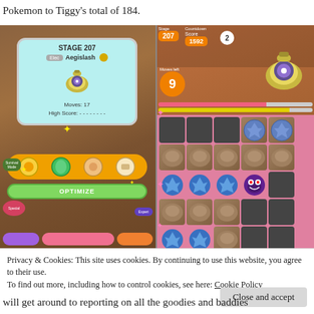Pokemon to Tiggy's total of 184.
[Figure (screenshot): Two side-by-side screenshots from Pokemon Shuffle mobile game. Left screenshot shows Stage 207 selection screen with Aegislash as the target Pokemon, Moves: 17, High Score: ---------, and a team of 4 Pokemon with an OPTIMIZE button. Right screenshot shows active gameplay of Stage 207 with Aegislash, countdown showing 2, moves showing 9, score 1592, HP bars, and a 5x4 grid of Pokemon tiles including dark gray blocks, rock-type, blue Pokemon, and Gengar.]
Privacy & Cookies: This site uses cookies. By continuing to use this website, you agree to their use.
To find out more, including how to control cookies, see here: Cookie Policy
will get around to reporting on all the goodies and baddies